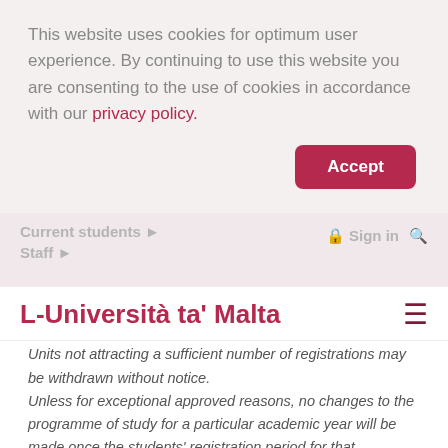This website uses cookies for optimum user experience. By continuing to use this website you are consenting to the use of cookies in accordance with our privacy policy.
Accept
Current students ▸  Staff ▸  Sign in 🔒  🔍
L-Università ta' Malta
Units not attracting a sufficient number of registrations may be withdrawn without notice. Unless for exceptional approved reasons, no changes to the programme of study for a particular academic year will be made once the students' registration period for that academic year begins.